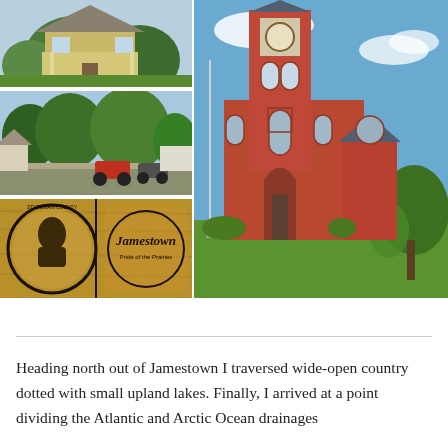[Figure (photo): Collage of four photos: top-left shows a yellow Victorian house with trees; middle-left shows a tree-lined residential street with parked cars; bottom-left shows a wooden Jamestown 'Pride of the Prairies' sign with Stutsman County emblem; right large photo shows a red-brick church/courthouse with a tall clock tower, Gothic architecture, blue sky and green lawn.]
Heading north out of Jamestown I traversed wide-open country dotted with small upland lakes. Finally, I arrived at a point dividing the Atlantic and Arctic Ocean drainages